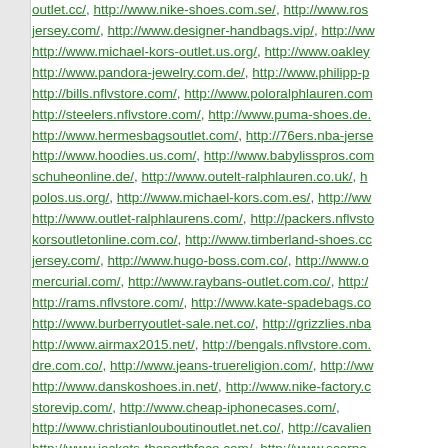outlet.cc/, http://www.nike-shoes.com.se/, http://www.ros jersey.com/, http://www.designer-handbags.vip/, http://ww http://www.michael-kors-outlet.us.org/, http://www.oakley http://www.pandora-jewelry.com.de/, http://www.philipp-p http://bills.nflvstore.com/, http://www.poloralphlauren.com http://steelers.nflvstore.com/, http://www.puma-shoes.de. http://www.hermesbagsoutlet.com/, http://76ers.nba-jerse http://www.hoodies.us.com/, http://www.babylisspros.com schuheonline.de/, http://www.outelt-ralphlauren.co.uk/, h polos.us.org/, http://www.michael-kors.com.es/, http://ww http://www.outlet-ralphlaurens.com/, http://packers.nflvsto korsoutletonline.com.co/, http://www.timberland-shoes.cc jersey.com/, http://www.hugo-boss.com.co/, http://www.o mercurial.com/, http://www.raybans-outlet.com.co/, http:/ http://rams.nflvstore.com/, http://www.kate-spadebags.co http://www.burberryoutlet-sale.net.co/, http://grizzlies.nba http://www.airmax2015.net/, http://bengals.nflvstore.com. dre.com.co/, http://www.jeans-truereligion.com/, http://ww http://www.danskoshoes.in.net/, http://www.nike-factory.c storevip.com/, http://www.cheap-iphonecases.com/, http://www.christianlouboutinoutlet.net.co/, http://cavalien http://www.jackets-thenorthface.com/, http://www.scarpe- http://www.nikeairmax-australia.com/, http://www.salvato http://panthers.nflvstore.com/, http://www.thenorth-face.co louboutins.com/, http://www.nike-shoesoutlet.com/, http:/ http://www.hollister-clothings-store.com/, http://dolphins.n airmaxs.fr/, http://www.ferragamos.us.com/, http://www.o